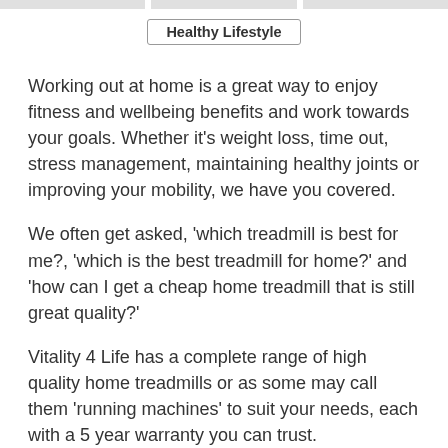Healthy Lifestyle
Working out at home is a great way to enjoy fitness and wellbeing benefits and work towards your goals. Whether it’s weight loss, time out, stress management, maintaining healthy joints or improving your mobility, we have you covered.
We often get asked, ‘which treadmill is best for me?, ‘which is the best treadmill for home?’ and ‘how can I get a cheap home treadmill that is still great quality?’
Vitality 4 Life has a complete range of high quality home treadmills or as some may call them ‘running machines’ to suit your needs, each with a 5 year warranty you can trust.
There are 11 home treadmills in our AbodeFit Health range and the great thing is you can choose a basic